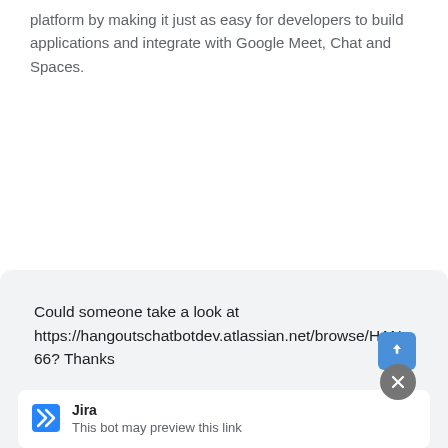platform by making it just as easy for developers to build applications and integrate with Google Meet, Chat and Spaces.
[Figure (screenshot): A chat interface screenshot showing a message bubble that reads 'Could someone take a look at https://hangoutschatbotdev.atlassian.net/browse/HAN-66? Thanks', with a blue send button, a gray close button, and a Jira link preview card showing 'Jira' and 'This bot may preview this link'.]